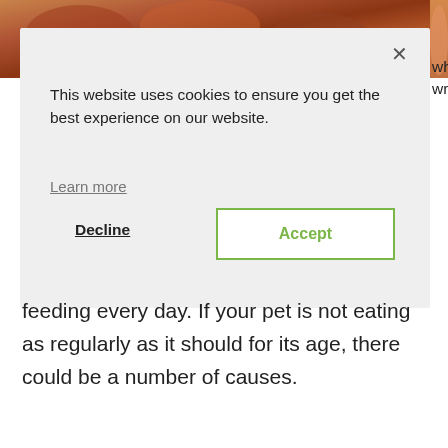[Figure (photo): Food/pet food photo in background at top]
This website uses cookies to ensure you get the best experience on our website.
Learn more
Decline
Accept
feeding every day. If your pet is not eating as regularly as it should for its age, there could be a number of causes.